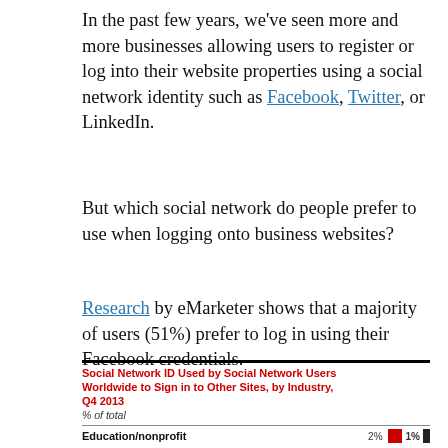In the past few years, we've seen more and more businesses allowing users to register or log into their website properties using a social network identity such as Facebook, Twitter, or LinkedIn.
But which social network do people prefer to use when logging onto business websites?
Research by eMarketer shows that a majority of users (51%) prefer to log in using their Facebook credentials.
[Figure (bar-chart): Social Network ID Used by Social Network Users Worldwide to Sign in to Other Sites, by Industry, Q4 2013]